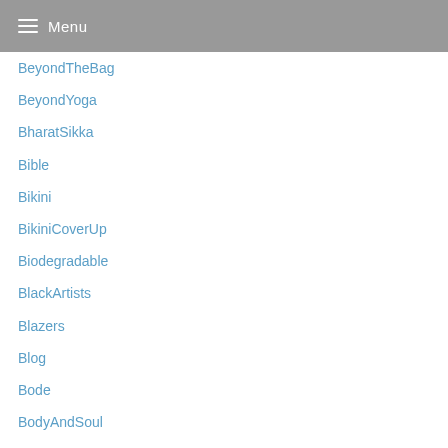Menu
BeyondTheBag
BeyondYoga
BharatSikka
Bible
Bikini
BikiniCoverUp
Biodegradable
BlackArtists
Blazers
Blog
Bode
BodyAndSoul
BodyImage
bodypositive
BomaJewelry
Book
BookBlitz